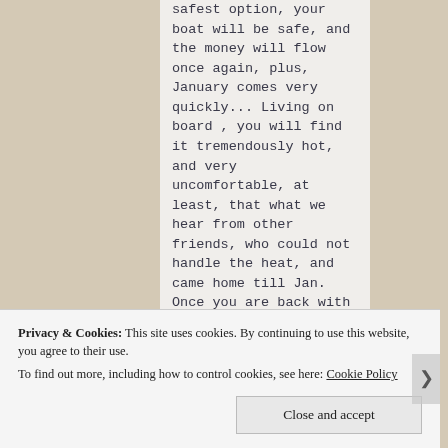safest option, your boat will be safe, and the money will flow once again, plus, January comes very quickly... Living on board , you will find it tremendously hot, and very uncomfortable, at least, that what we hear from other friends, who could not handle the heat, and came home till Jan. Once you are back with your boat, you can then
Privacy & Cookies: This site uses cookies. By continuing to use this website, you agree to their use. To find out more, including how to control cookies, see here: Cookie Policy